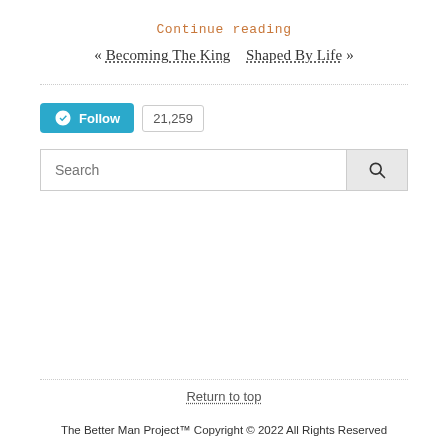Continue reading
« Becoming The King    Shaped By Life »
[Figure (other): WordPress Follow button with follower count badge showing 21,259]
[Figure (other): Search input field with search icon button]
Return to top
The Better Man Project™ Copyright © 2022 All Rights Reserved